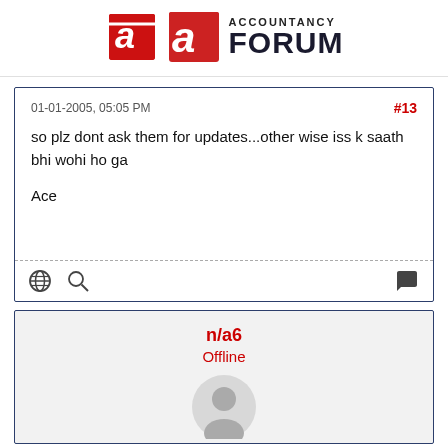ACCOUNTANCY FORUM
01-01-2005, 05:05 PM
#13
so plz dont ask them for updates...other wise iss k saath bhi wohi ho ga
Ace
n/a6
Offline